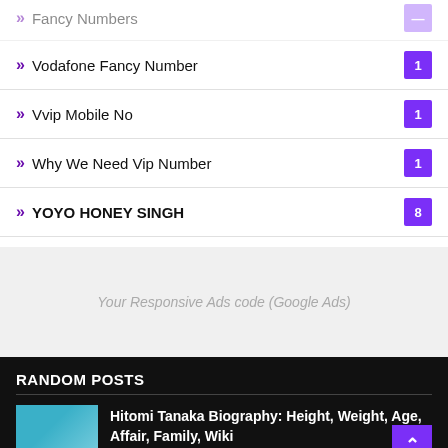Vodafone Fancy Number 1
Vvip Mobile No 1
Why We Need Vip Number 1
YOYO HONEY SINGH 8
Your Responsive Ads code (Google Ads)
RANDOM POSTS
Hitomi Tanaka Biography: Height, Weight, Age, Affair, Family, Wiki